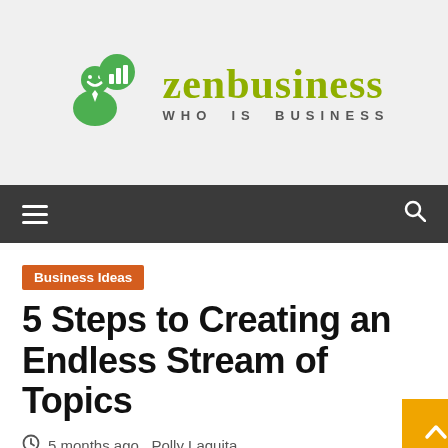[Figure (logo): ZenBusiness logo with green businessman icon and bar chart speech bubble, with the text 'zenbusiness' in olive/yellow-green serif font and tagline 'WHO IS BUSINESS' below]
Navigation bar with hamburger menu icon and search icon
Business Ideas
5 Steps to Creating an Endless Stream of Topics
5 months ago  Polly Laquita